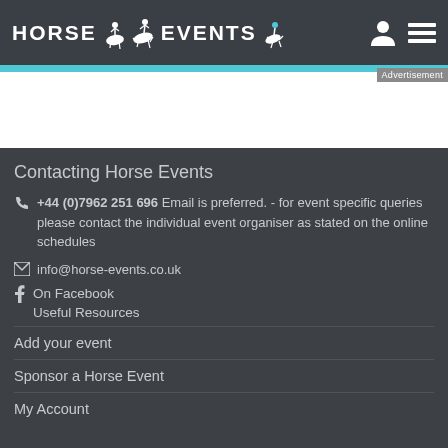HORSE EVENTS
Advertisement
Contacting Horse Events
+44 (0)7962 251 696 Email is preferred. - for event specific queries please contact the individual event organiser as stated on the online schedules
info@horse-events.co.uk
On Facebook
Useful Resources
Add your event
Sponsor a Horse Event
My Account